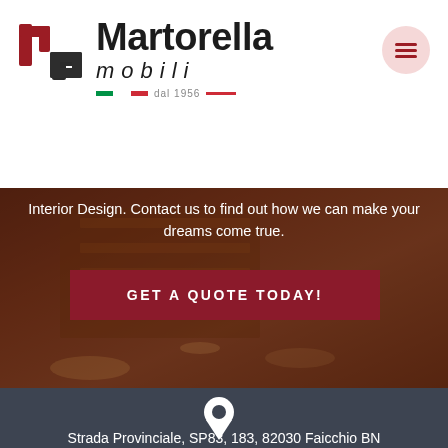[Figure (logo): Martorella Mobili logo with stylized M-G letters in red and dark grey, text says Martorella mobili dal 1956, with Italian flag stripe]
Interior Design. Contact us to find out how we can make your dreams come true.
GET A QUOTE TODAY!
[Figure (illustration): Location pin icon in white]
Strada Provinciale, SP83, 183, 82030 Faicchio BN
[Figure (illustration): Envelope/mail icon in white]